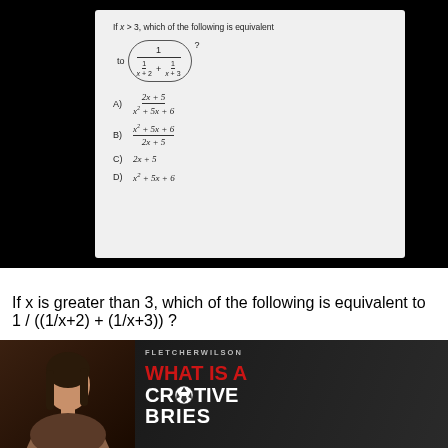[Figure (screenshot): A math question on a light gray document panel showing: If x > 3, which of the following is equivalent to 1 / ((1/x+2) + (1/x+3))? with answer choices A) (2x+5)/(x^2+5x+6), B) (x^2+5x+6)/(2x+5), C) 2x+5, D) x^2+5x+6]
If x is greater than 3, which of the following is equivalent to 1 / ((1/x+2) + (1/x+3)) ?
[Figure (photo): Video thumbnail showing a woman on the left side and text on the right: FLETCHERWILSON at top, WHAT IS A in large red text, CREATIVE in large white text with a soccer ball icon replacing the letter A, and partial text below]